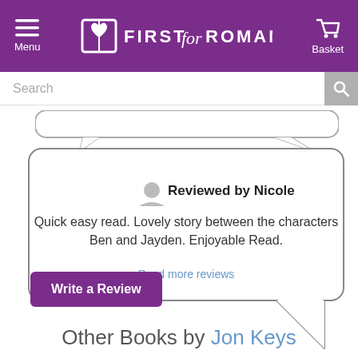First for Romance — Menu / Basket navigation header
Search
Reviewed by Nicole
Quick easy read. Lovely story between the characters Ben and Jayden. Enjoyable Read.
Read more reviews
Write a Review
Other Books by Jon Keys